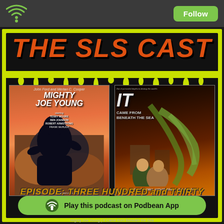[Figure (screenshot): Podcast app screenshot showing 'THE SLS CAST' podcast page with two movie posters: 'Mighty Joe Young' and 'It Came from Beneath the Sea'. The page has a yellow-green border, dark background, and shows episode information. A 'Play this podcast on Podbean App' button is visible at the bottom.]
THE SLS CAST
EPISODE: THREE HUNDRED and THIRTY
Mighty Joe Young | It Came from Beneath the Sea
Play this podcast on Podbean App